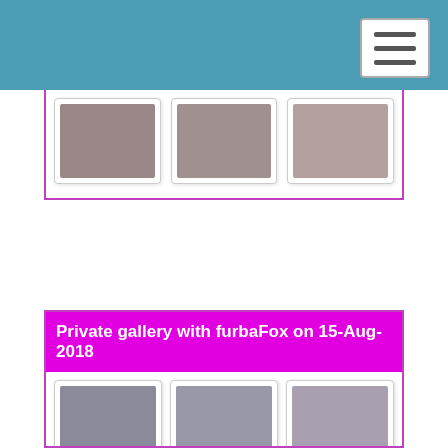[Figure (photo): Top gallery row showing three thumbnail photos of a woman with red hair]
Private gallery with furbaFox on 15-Aug-2018
[Figure (photo): Grid of nine thumbnail photos from private gallery with furbaFox on 15-Aug-2018]